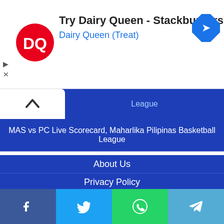[Figure (infographic): Dairy Queen advertisement banner with DQ logo, text 'Try Dairy Queen - Stackburgers', 'Dairy Queen (Treat)', navigation arrow icon, and ad control arrows]
League
MAS vs PC Live Scorecard, Maharlika Pilipinas Basketball League
About Us
Privacy Policy
Terms & Condition
Disclaimer
Recommended Links
Widgets
Advertise With Us
Visit us on Facebook Instagram
[Figure (infographic): Bottom social sharing bar with Facebook, Twitter, WhatsApp, and Telegram icons]